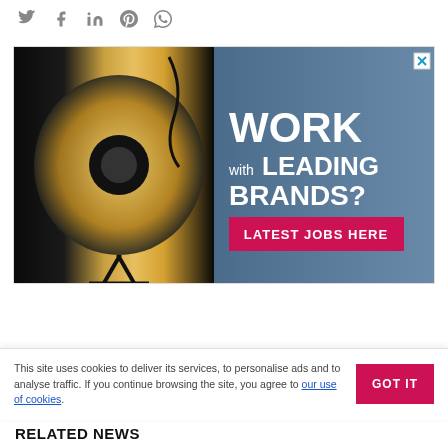[Figure (screenshot): Social media share icons: Twitter, Facebook, LinkedIn, Pinterest, WhatsApp]
[Figure (photo): Advertisement banner: studio flash light on left with dark/gold reflector, text 'WORK with LEADING BRANDS? LATEST JOBS HERE' on blue-grey background]
This site uses cookies to deliver its services, to personalise ads and to analyse traffic. If you continue browsing the site, you agree to our use of cookies.
RELATED NEWS